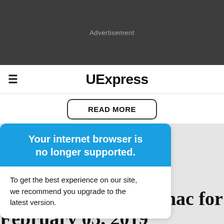[Figure (other): Dark gray advertisement banner placeholder with 'Advertisement' text centered]
≡  UExpress
READ MORE
Your internet browser is no longer supported.
To get the best experience on our site, we recommend you upgrade to the latest version.
anac for
February 05, 2019